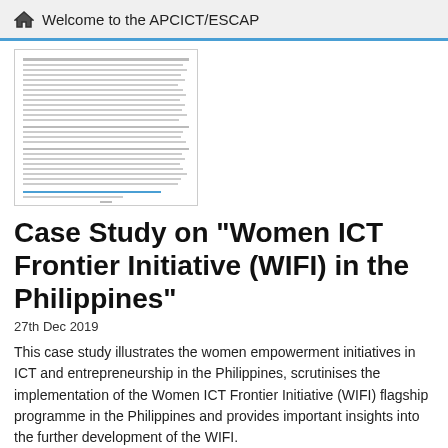Welcome to the APCICT/ESCAP
[Figure (screenshot): Thumbnail preview of a document page with dense text content]
Case Study on "Women ICT Frontier Initiative (WIFI) in the Philippines"
27th Dec 2019
This case study illustrates the women empowerment initiatives in ICT and entrepreneurship in the Philippines, scrutinises the implementation of the Women ICT Frontier Initiative (WIFI) flagship programme in the Philippines and provides important insights into the further development of the WIFI.
WIFI, Philippines, 2019
Read More
[Figure (photo): Light blue rectangular image thumbnail at bottom of page]